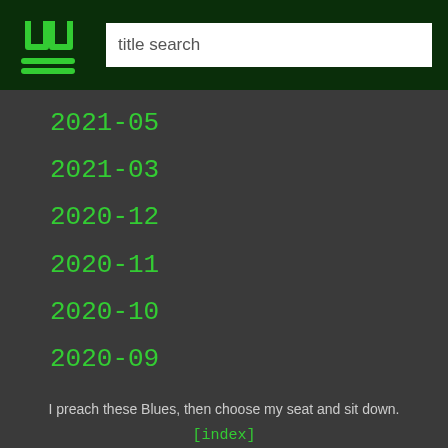title search
2021-05
2021-03
2020-12
2020-11
2020-10
2020-09
I preach these Blues, then choose my seat and sit down.
[index]